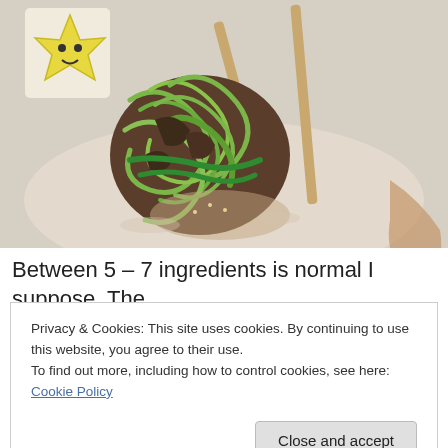[Figure (photo): Close-up photo of green noodles/food being held with chopsticks over a white plate, with a cartoon yellow character sticker visible in the top left corner]
Between 5 – 7 ingredients is normal I suppose. The
Privacy & Cookies: This site uses cookies. By continuing to use this website, you agree to their use.
To find out more, including how to control cookies, see here: Cookie Policy
Close and accept